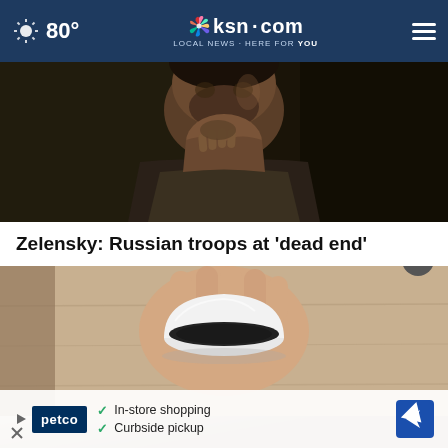80° ksn.com LOCAL NEWS·HERE FOR YOU
[Figure (photo): Man with dark beard resting his chin on his fist, dimly lit background]
Zelensky: Russian troops at 'dead end'
[Figure (photo): Hand holding a white dome-shaped security camera device over a wooden surface]
[Figure (infographic): Petco advertisement overlay: In-store shopping, Curbside pickup]